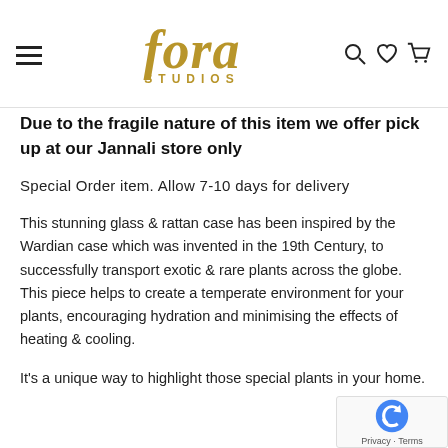[Figure (logo): Fora Studios logo with hamburger menu on the left and search/wishlist/cart icons on the right]
Due to the fragile nature of this item we offer pick up at our Jannali store only
Special Order item. Allow 7-10 days for delivery
This stunning glass & rattan case has been inspired by the Wardian case which was invented in the 19th Century, to successfully transport exotic & rare plants across the globe. This piece helps to create a temperate environment for your plants, encouraging hydration and minimising the effects of heating & cooling.
It's a unique way to highlight those special plants in your home.